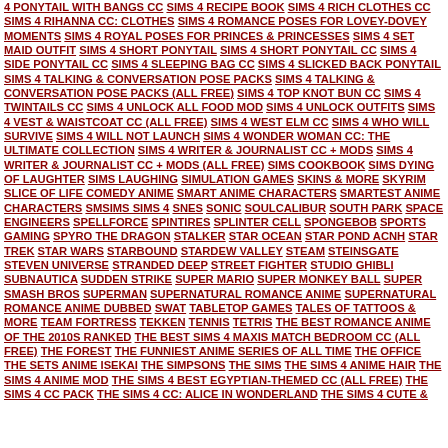4 PONYTAIL WITH BANGS CC   SIMS 4 RECIPE BOOK   SIMS 4 RICH CLOTHES CC   SIMS 4 RIHANNA CC: CLOTHES   SIMS 4 ROMANCE POSES FOR LOVEY-DOVEY MOMENTS   SIMS 4 ROYAL POSES FOR PRINCES & PRINCESSES   SIMS 4 SET MAID OUTFIT   SIMS 4 SHORT PONYTAIL   SIMS 4 SHORT PONYTAIL CC   SIMS 4 SIDE PONYTAIL CC   SIMS 4 SLEEPING BAG CC   SIMS 4 SLICKED BACK PONYTAIL   SIMS 4 TALKING & CONVERSATION POSE PACKS   SIMS 4 TALKING & CONVERSATION POSE PACKS (ALL FREE)   SIMS 4 TOP KNOT BUN CC   SIMS 4 TWINTAILS CC   SIMS 4 UNLOCK ALL FOOD MOD   SIMS 4 UNLOCK OUTFITS   SIMS 4 VEST & WAISTCOAT CC (ALL FREE)   SIMS 4 WEST ELM CC   SIMS 4 WHO WILL SURVIVE   SIMS 4 WILL NOT LAUNCH   SIMS 4 WONDER WOMAN CC: THE ULTIMATE COLLECTION   SIMS 4 WRITER & JOURNALIST CC + MODS   SIMS 4 WRITER & JOURNALIST CC + MODS (ALL FREE)   SIMS COOKBOOK   SIMS DYING OF LAUGHTER   SIMS LAUGHING   SIMULATION GAMES   SKINS & MORE   SKYRIM   SLICE OF LIFE COMEDY ANIME   SMART ANIME CHARACTERS   SMARTEST ANIME CHARACTERS   SMSIMS SIMS 4   SNES   SONIC   SOULCALIBUR   SOUTH PARK   SPACE ENGINEERS   SPELLFORCE   SPINTIRES   SPLINTER CELL   SPONGEBOB   SPORTS GAMING   SPYRO THE DRAGON   STALKER   STAR OCEAN   STAR POND ACNH   STAR TREK   STAR WARS   STARBOUND   STARDEW VALLEY   STEAM   STEINSGATE   STEVEN UNIVERSE   STRANDED DEEP   STREET FIGHTER   STUDIO GHIBLI   SUBNAUTICA   SUDDEN STRIKE   SUPER MARIO   SUPER MONKEY BALL   SUPER SMASH BROS   SUPERMAN   SUPERNATURAL ROMANCE ANIME   SUPERNATURAL ROMANCE ANIME DUBBED   SWAT   TABLETOP GAMES   TALES OF TATTOOS & MORE   TEAM FORTRESS   TEKKEN   TENNIS   TETRIS   THE BEST ROMANCE ANIME OF THE 2010S RANKED   THE BEST SIMS 4 MAXIS MATCH BEDROOM CC (ALL FREE)   THE FOREST   THE FUNNIEST ANIME SERIES OF ALL TIME   THE OFFICE   THE SETS ANIME ISEKAI   THE SIMPSONS   THE SIMS   THE SIMS 4 ANIME HAIR   THE SIMS 4 ANIME MOD   THE SIMS 4 BEST EGYPTIAN-THEMED CC (ALL FREE)   THE SIMS 4 CC PACK   THE SIMS 4 CC: ALICE IN WONDERLAND   THE SIMS 4 CUTE &